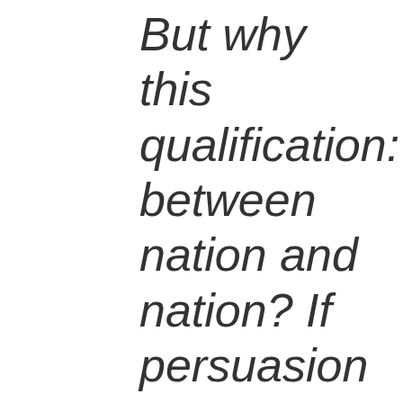But why this qualification: between nation and nation? If persuasion is a form of…